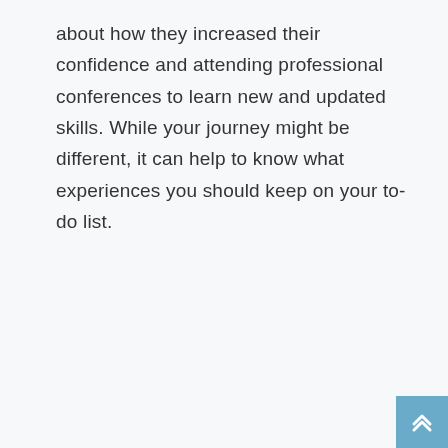about how they increased their confidence and attending professional conferences to learn new and updated skills. While your journey might be different, it can help to know what experiences you should keep on your to-do list.